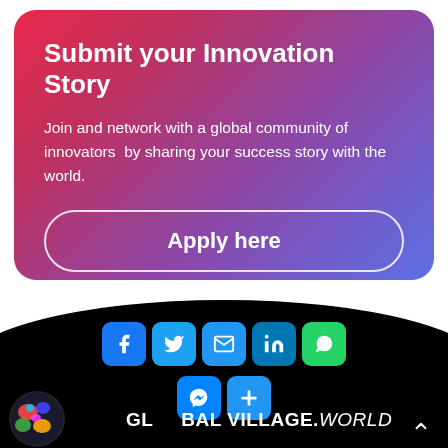Submit your Innovation Story
Join and network with a global community of innovators  by sharing your success story with the world.
Apply here
[Figure (logo): Social media share icons row 1: Facebook, Twitter, Email, LinkedIn, WhatsApp; row 2: Messenger, Plus/Share button]
[Figure (logo): Global Village World logo with colorful globe icon and text GLOBAL VILLAGE.WORLD]